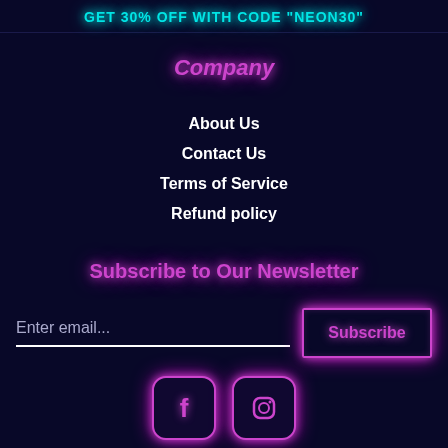GET 30% OFF WITH CODE "NEON30"
Company
About Us
Contact Us
Terms of Service
Refund policy
Subscribe to Our Newsletter
Enter email...
Subscribe
[Figure (illustration): Facebook and Instagram social media icons with neon pink/magenta border and glow effect]